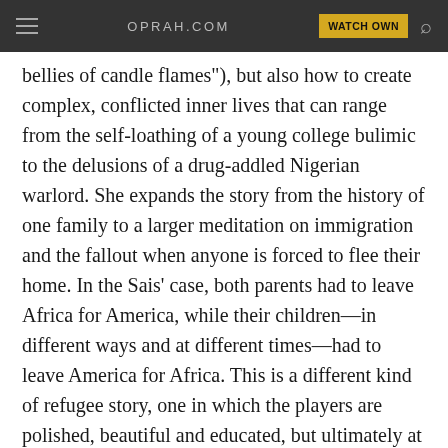≡  OPRAH.COM  WATCH OWN 🔍
bellies of candle flames"), but also how to create complex, conflicted inner lives that can range from the self-loathing of a young college bulimic to the delusions of a drug-addled Nigerian warlord. She expands the story from the history of one family to a larger meditation on immigration and the fallout when anyone is forced to flee their home. In the Sais' case, both parents had to leave Africa for America, while their children—in different ways and at different times—had to leave America for Africa. This is a different kind of refugee story, one in which the players are polished, beautiful and educated, but ultimately at war with their own broken selves. How—and will—they ultimately move on? That's the stuff of an unforgettable epic novel